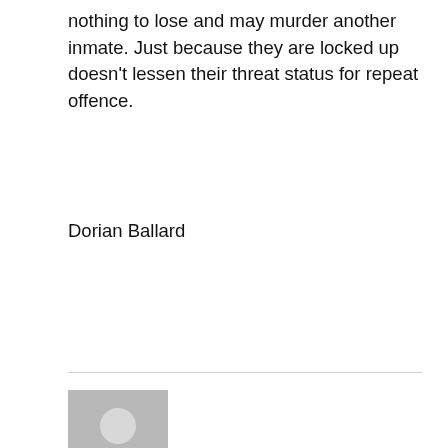nothing to lose and may murder another inmate. Just because they are locked up doesn't lessen their threat status for repeat offence.
Dorian Ballard
[Figure (illustration): Generic grey avatar/profile placeholder image showing a person silhouette]
Ursula Bennett
May 29, 2012 at 11:03 am
Clemency:
God has given clemency on occasions, but it was never on a whim or unsupported by justice, but He knew that He himself would pay the price that justice demanded as retribution for our sin. I'd